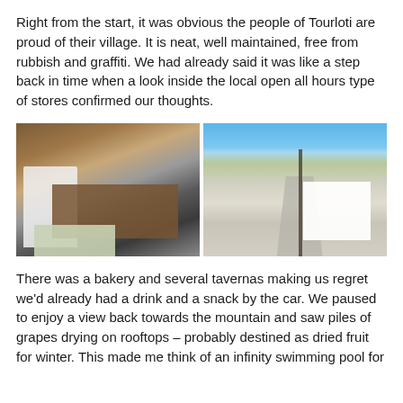Right from the start, it was obvious the people of Tourloti are proud of their village. It is neat, well maintained, free from rubbish and graffiti. We had already said it was like a step back in time when a look inside the local open all hours type of stores confirmed our thoughts.
[Figure (photo): Two side-by-side photos: left shows the cluttered interior of a local store with a white plastic chair, an old wooden table with items on top, cardboard boxes, and an Ariel detergent box visible; right shows a street view of Tourloti village with a white church/chapel with an orange roof arch, a utility pole with wires, buildings, trees, and a blue sky.]
There was a bakery and several tavernas making us regret we'd already had a drink and a snack by the car. We paused to enjoy a view back towards the mountain and saw piles of grapes drying on rooftops – probably destined as dried fruit for winter. This made me think of an infinity swimming pool for